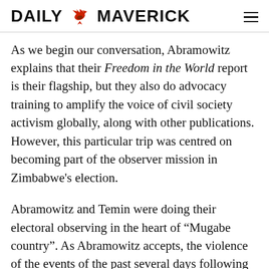DAILY MAVERICK
As we begin our conversation, Abramowitz explains that their Freedom in the World report is their flagship, but they also do advocacy training to amplify the voice of civil society activism globally, along with other publications. However, this particular trip was centred on becoming part of the observer mission in Zimbabwe’s election.
Abramowitz and Temin were doing their electoral observing in the heart of “Mugabe country”. As Abramowitz accepts, the violence of the events of the past several days following the voting “was concerning”. Abramowitz adds that while what happened had come off a rather low bar, there had been some improvement in electoral standards and practice in Zimbabwe in contrast to past